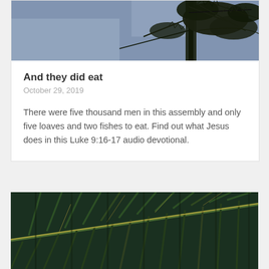[Figure (photo): Photo of tree branches with dark foliage against a blue-grey sky, viewed from below]
And they did eat
October 29, 2019
There were five thousand men in this assembly and only five loaves and two fishes to eat. Find out what Jesus does in this Luke 9:16-17 audio devotional.
[Figure (photo): Close-up photo of palm frond leaves, green with yellow-gold highlights, arranged diagonally]